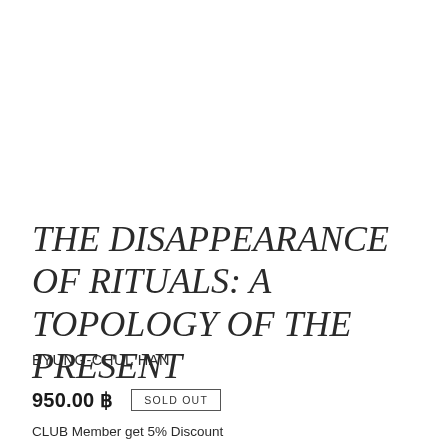THE DISAPPEARANCE OF RITUALS: A TOPOLOGY OF THE PRESENT
BYUNG-CHUL HAN
950.00 ฿  SOLD OUT
CLUB Member get 5% Discount